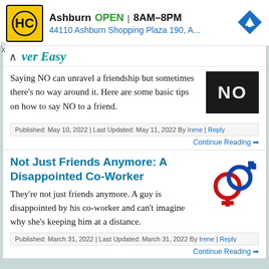[Figure (screenshot): Hardware store (HC) advertisement banner: HC logo in yellow, showing Ashburn location open 8AM-8PM at 44110 Ashburn Shopping Plaza 190, A... with blue navigation arrow icon]
ver Easy
[Figure (photo): Close-up photo of the word NO on a dark surface with red/rust spots]
Saying NO can unravel a friendship but sometimes there's no way around it. Here are some basic tips on how to say NO to a friend.
Published: May 10, 2022 | Last Updated: May 11, 2022 By Irene | Reply
Continue Reading ➡
Not Just Friends Anymore: A Disappointed Co-Worker
[Figure (illustration): Male and female gender symbols (Mars and Venus) interlinked, in blue and red]
They're not just friends anymore. A guy is disappointed by his co-worker and can't imagine why she's keeping him at a distance.
Published: March 31, 2022 | Last Updated: March 31, 2022 By Irene | Reply
Continue Reading ➡